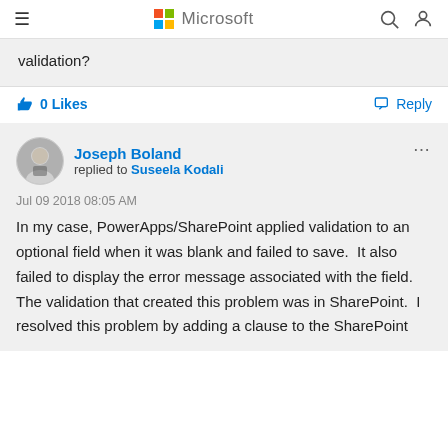Microsoft
validation?
0 Likes   Reply
Joseph Boland replied to Suseela Kodali
Jul 09 2018 08:05 AM
In my case, PowerApps/SharePoint applied validation to an optional field when it was blank and failed to save.  It also failed to display the error message associated with the field.  The validation that created this problem was in SharePoint.  I resolved this problem by adding a clause to the SharePoint